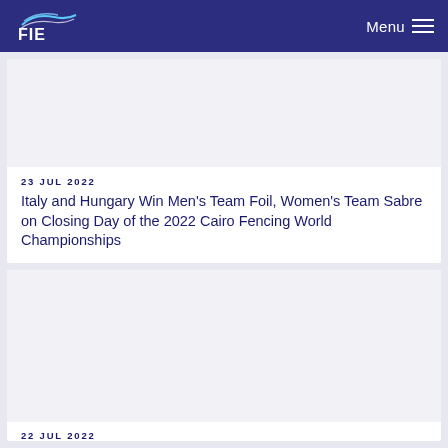FIE | Menu
[Figure (photo): Article thumbnail image for Italy and Hungary fencing article]
23 JUL 2022
Italy and Hungary Win Men's Team Foil, Women's Team Sabre on Closing Day of the 2022 Cairo Fencing World Championships
[Figure (photo): Article thumbnail image for second article]
22 Jul 2022